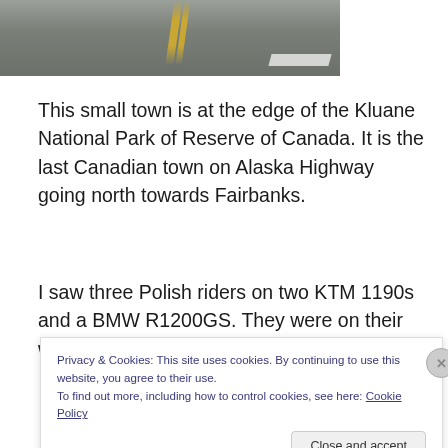[Figure (photo): Aerial or close-up view of a road with yellow center lines and white road markings, gray asphalt surface]
This small town is at the edge of the Kluane National Park of Reserve of Canada. It is the last Canadian town on Alaska Highway going north towards Fairbanks.
I saw three Polish riders on two KTM 1190s and a BMW R1200GS. They were on their way back from Alaska. They
Privacy & Cookies: This site uses cookies. By continuing to use this website, you agree to their use.
To find out more, including how to control cookies, see here: Cookie Policy
Close and accept